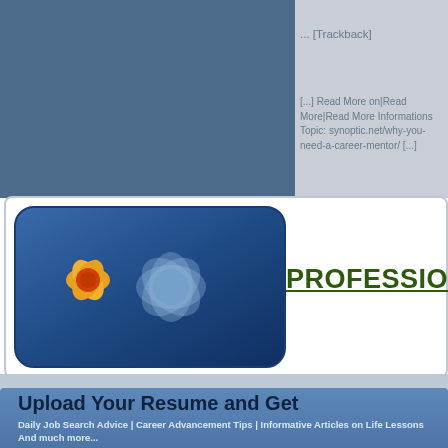... [Trackback]
[...] Read More on|Read More|Read More Informations Topic: synoptic.net/why-you-need-a-career-mentor/ [...]
PROFESSIONAL ADVI
Upload Your Resume and Get
Daily Job Search Advice | Career Advancement Tips | Informative Articles on Life Lessons And much more...
Email Address
Upload Resume   Choose File  No file chosen